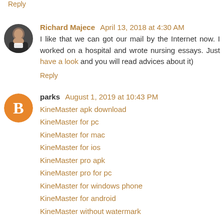Reply
Richard Majece  April 13, 2018 at 4:30 AM
I like that we can got our mail by the Internet now. I worked on a hospital and wrote nursing essays. Just have a look and you will read advices about it)
Reply
parks  August 1, 2019 at 10:43 PM
KineMaster apk download
KineMaster for pc
KineMaster for mac
KineMaster for ios
KineMaster pro apk
KineMaster pro for pc
KineMaster for windows phone
KineMaster for android
KineMaster without watermark